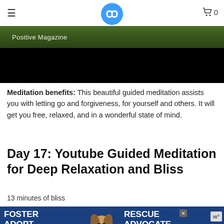≡  [logo]  🛒 0
[Figure (photo): Partial image showing 'Positive Magazine' text over a dark green grass background, with a black strip below it]
Meditation benefits: This beautiful guided meditation assists you with letting go and forgiveness, for yourself and others. It will get you free, relaxed, and in a wonderful state of mind.
Day 17: Youtube Guided Meditation for Deep Relaxation and Bliss
13 minutes of bliss
[Figure (photo): Advertisement banner with blue background showing a beagle dog, text 'FOSTER ADOPT' on left, 'RESCUE ADVOCATE' on right, with a close button and weather widget]